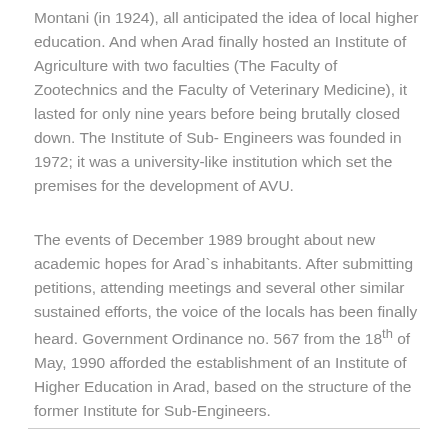Montani (in 1924), all anticipated the idea of local higher education. And when Arad finally hosted an Institute of Agriculture with two faculties (The Faculty of Zootechnics and the Faculty of Veterinary Medicine), it lasted for only nine years before being brutally closed down. The Institute of Sub- Engineers was founded in 1972; it was a university-like institution which set the premises for the development of AVU.
The events of December 1989 brought about new academic hopes for Arad`s inhabitants. After submitting petitions, attending meetings and several other similar sustained efforts, the voice of the locals has been finally heard. Government Ordinance no. 567 from the 18th of May, 1990 afforded the establishment of an Institute of Higher Education in Arad, based on the structure of the former Institute for Sub-Engineers.